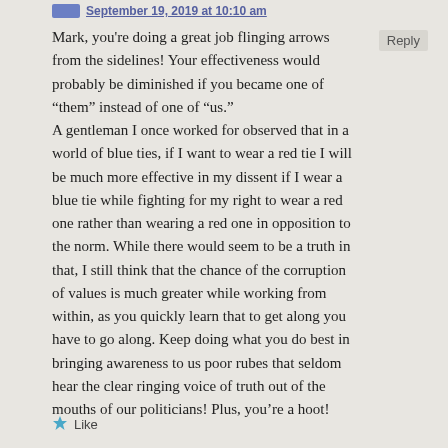September 19, 2019 at 10:10 am
Mark, you're doing a great job flinging arrows from the sidelines! Your effectiveness would probably be diminished if you became one of “them” instead of one of “us.” A gentleman I once worked for observed that in a world of blue ties, if I want to wear a red tie I will be much more effective in my dissent if I wear a blue tie while fighting for my right to wear a red one rather than wearing a red one in opposition to the norm. While there would seem to be a truth in that, I still think that the chance of the corruption of values is much greater while working from within, as you quickly learn that to get along you have to go along. Keep doing what you do best in bringing awareness to us poor rubes that seldom hear the clear ringing voice of truth out of the mouths of our politicians! Plus, you’re a hoot!
Reply
★ Like